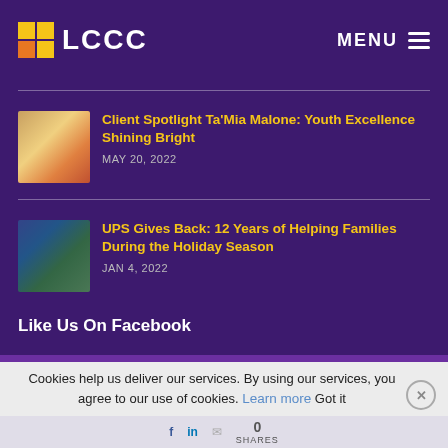LCCC MENU
[Figure (photo): Thumbnail image of Ta'Mia Malone in cheerleader/performance outfit]
Client Spotlight Ta'Mia Malone: Youth Excellence Shining Bright
MAY 20, 2022
[Figure (photo): Thumbnail image of UPS giving back event with families and gifts]
UPS Gives Back: 12 Years of Helping Families During the Holiday Season
JAN 4, 2022
Like Us On Facebook
Cookies help us deliver our services. By using our services, you agree to our use of cookies. Learn more Got it